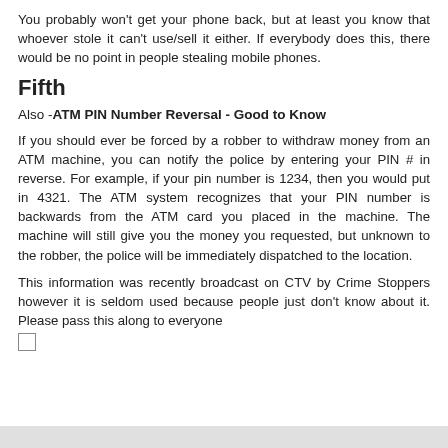You probably won't get your phone back, but at least you know that whoever stole it can't use/sell it either. If everybody does this, there would be no point in people stealing mobile phones.
Fifth
Also -ATM PIN Number Reversal - Good to Know
If you should ever be forced by a robber to withdraw money from an ATM machine, you can notify the police by entering your PIN # in reverse. For example, if your pin number is 1234, then you would put in 4321. The ATM system recognizes that your PIN number is backwards from the ATM card you placed in the machine. The machine will still give you the money you requested, but unknown to the robber, the police will be immediately dispatched to the location.
This information was recently broadcast on CTV by Crime Stoppers however it is seldom used because people just don't know about it. Please pass this along to everyone